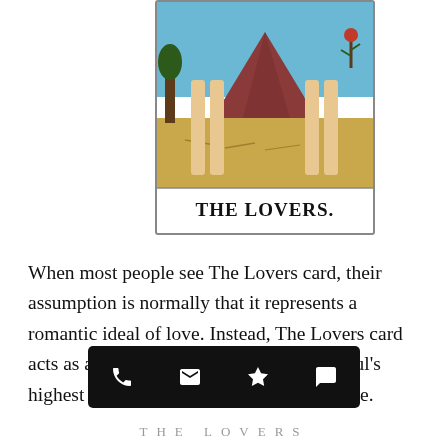[Figure (illustration): Tarot card illustration showing the bottom portion of two standing figures (legs visible) with a red mountain in the background, yellow ground, and a tree on the left. Below the art is a white banner with bold text reading 'THE LOVERS.']
When most people see The Lovers card, their assumption is normally that it represents a romantic ideal of love. Instead, The Lovers card acts as a mirror to help us integrate our soul's highest wisdom with our human experience.
[Figure (screenshot): Dark mobile app bottom navigation bar with four icons: phone, envelope/email, Yelp star, and chat bubble, on a black background.]
THE LOVERS